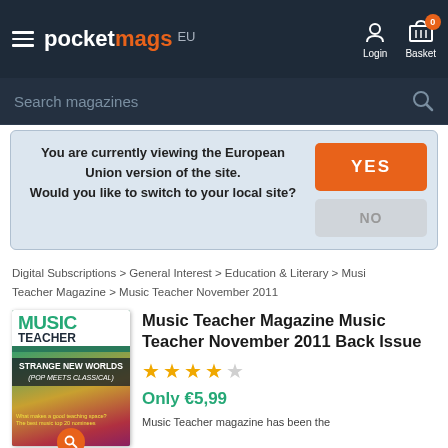pocketmags EU — Login — Basket (0)
Search magazines
You are currently viewing the European Union version of the site. Would you like to switch to your local site? YES / NO
Digital Subscriptions > General Interest > Education & Literary > Music Teacher Magazine > Music Teacher November 2011
[Figure (photo): Music Teacher magazine cover showing 'Strange New Worlds' headline with performers]
Music Teacher Magazine Music Teacher November 2011 Back Issue
★★★★☆
Only €5,99
Music Teacher magazine has been the